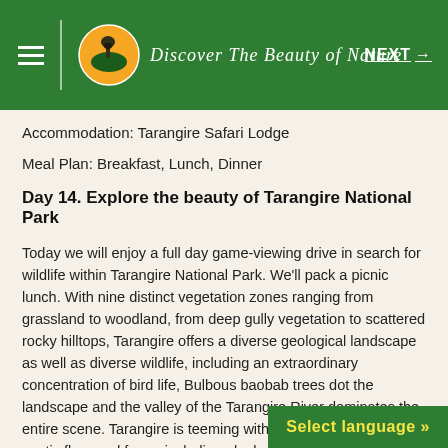Discover The Beauty of Nature — NEXT →
Accommodation: Tarangire Safari Lodge
Meal Plan: Breakfast, Lunch, Dinner
Day 14. Explore the beauty of Tarangire National Park
Today we will enjoy a full day game-viewing drive in search for wildlife within Tarangire National Park. We'll pack a picnic lunch. With nine distinct vegetation zones ranging from grassland to woodland, from deep gully vegetation to scattered rocky hilltops, Tarangire offers a diverse geological landscape as well as diverse wildlife, including an extraordinary concentration of bird life, Bulbous baobab trees dot the landscape and the valley of the Tarangire River dominates the entire scene. Tarangire is teeming with an amazing diversity of exotic flora and fauna including elephant, lion, leopard, and buffalo. Each of our driver-guides has extensive knowledge of the behavior of the great animals. The... for dinner and overnight stay.